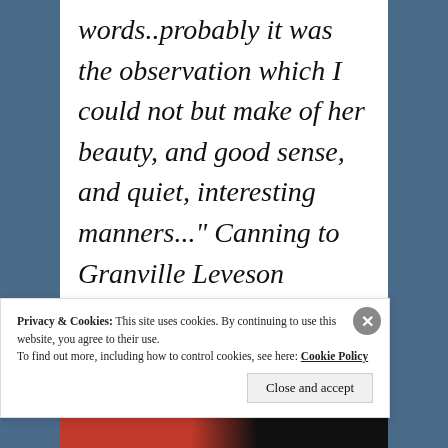words..probably it was the observation which I could not but make of her beauty, and good sense, and quiet, interesting manners..." Canning to Granville Leveson Gower, August 1799
Privacy & Cookies: This site uses cookies. By continuing to use this website, you agree to their use. To find out more, including how to control cookies, see here: Cookie Policy